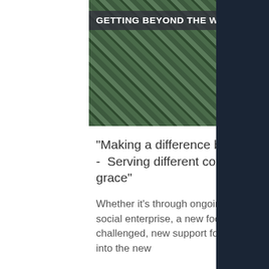[Figure (photo): Aerial view of a residential neighborhood with trees and houses, with a strip of four smaller photos on the right showing people and community scenes. Title overlay reads GETTING BEYOND THE WALLS.]
“Making a difference beyond the walls - Serving different communities with grace”
Whether it’s through ongoing on-line services, through neighbourly care, through social enterprise, a new focus on the vulnerable, a new work for the economically challenged, new support for the local church network – we can be stepping forwards into the new